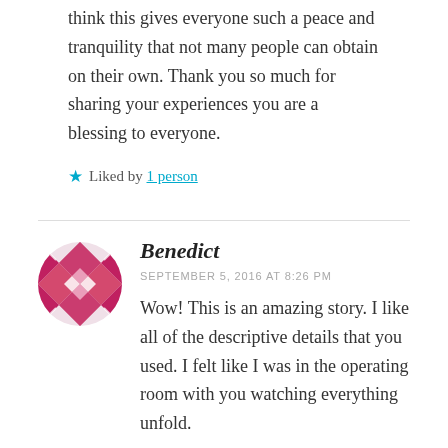think this gives everyone such a peace and tranquility that not many people can obtain on their own. Thank you so much for sharing your experiences you are a blessing to everyone.
★ Liked by 1 person
Benedict
SEPTEMBER 5, 2016 AT 8:26 PM
Wow! This is an amazing story. I like all of the descriptive details that you used. I felt like I was in the operating room with you watching everything unfold.